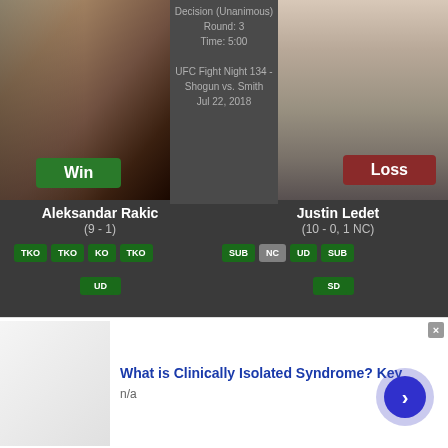[Figure (photo): Aleksandar Rakic fighter photo showing muscular tattooed man outdoors with Win badge]
Decision (Unanimous)
Round: 3
Time: 5:00

UFC Fight Night 134 - Shogun vs. Smith
Jul 22, 2018
[Figure (photo): Justin Ledet fighter photo showing man in striped tank top with Loss badge]
Aleksandar Rakic
(9 - 1)
Justin Ledet
(10 - 0, 1 NC)
TKO TKO KO TKO UD
SUB NC UD SUB SD
vs
[Figure (photo): Second fight bottom left fighter photo with infolinks badge]
[Figure (photo): Second fight bottom right fighter photo showing man with NY baseball cap]
Decision (Unanimous)
[Figure (photo): Advertisement banner: What is Clinically Isolated Syndrome? Key - showing doctor image]
What is Clinically Isolated Syndrome? Key
n/a